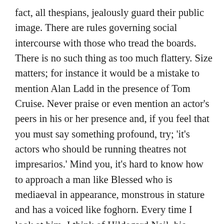fact, all thespians, jealously guard their public image. There are rules governing social intercourse with those who tread the boards. There is no such thing as too much flattery. Size matters; for instance it would be a mistake to mention Alan Ladd in the presence of Tom Cruise. Never praise or even mention an actor's peers in his or her presence and, if you feel that you must say something profound, try; 'it's actors who should be running theatres not impresarios.' Mind you, it's hard to know how to approach a man like Blessed who is mediaeval in appearance, monstrous in stature and has a voiced like foghorn. Every time I look at him, I think of Hildegard Neil, his lovely wife, who I used to fancy madly when I was at school. I suppose I'd better keep quiet about that as well.